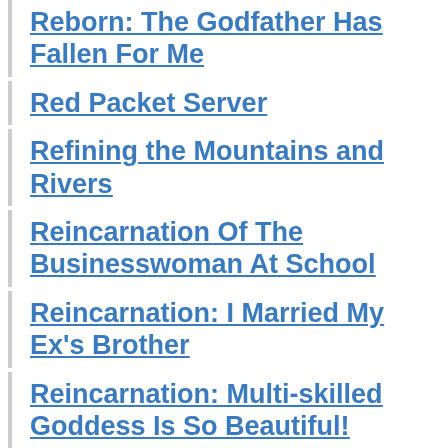Reborn: The Godfather Has Fallen For Me
Red Packet Server
Refining the Mountains and Rivers
Reincarnation Of The Businesswoman At School
Reincarnation: I Married My Ex's Brother
Reincarnation: Multi-skilled Goddess Is So Beautiful!
Report of the Committee of Inquiry into the Various Aspects of the Problem of Abortion in NewZealand
Second Life Ranker
Shoujo Grand Summoning
Songs of Angus and More Songs of Angus